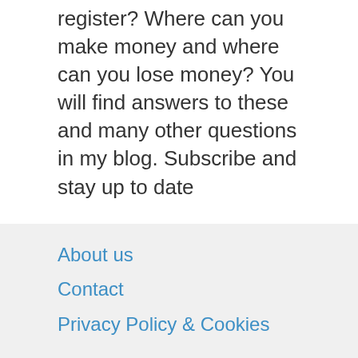register? Where can you make money and where can you lose money? You will find answers to these and many other questions in my blog. Subscribe and stay up to date
About us
Contact
Privacy Policy & Cookies
ATTENTION TO RIGHT HOLDERS! All materials are posted on the site strictly for informational and educational purposes! If you believe that the posting of any material infringes your copyright, be sure to contact us through the contact form and your